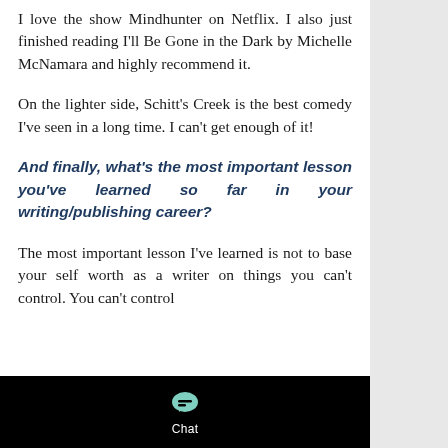I love the show Mindhunter on Netflix. I also just finished reading I'll Be Gone in the Dark by Michelle McNamara and highly recommend it.
On the lighter side, Schitt's Creek is the best comedy I've seen in a long time. I can't get enough of it!
And finally, what's the most important lesson you've learned so far in your writing/publishing career?
The most important lesson I've learned is not to base your self worth as a writer on things you can't control. You can't control
[Figure (other): Black chat bar at bottom with chat bubble icon and 'Chat' label]